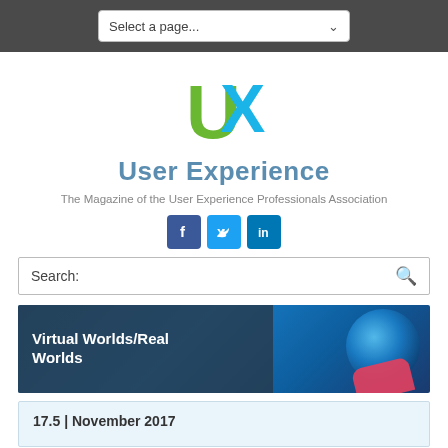Select a page...
[Figure (logo): UX logo — green U and blue X letters forming 'UX' monogram]
User Experience
The Magazine of the User Experience Professionals Association
[Figure (other): Social media icons: Facebook, Twitter, LinkedIn]
Search:
[Figure (photo): Feature banner: Virtual Worlds/Real Worlds — image of a globe and smartphone with blue tones]
Virtual Worlds/Real Worlds
17.5 | November 2017